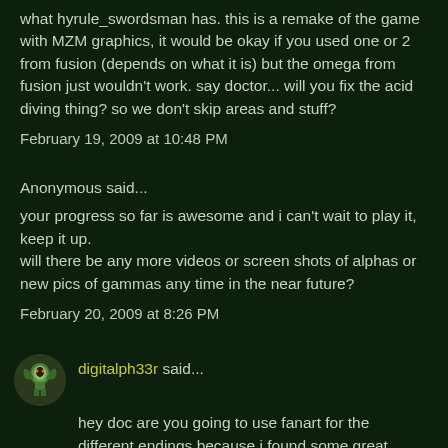what hyrule_swordsman has. this is a remake of the game with MZM graphics, it would be okay if you used one or 2 from fusion (depends on what it is) but the omega from fusion just wouldn't work. say doctor... will you fix the acid diving thing? so we don't skip areas and stuff?
February 19, 2009 at 10:48 PM
Anonymous said...
your progress so far is awesome and i can't wait to play it, keep it up.
will there be any more videos or screen shots of alphas or new pics of gammas any time in the near future?
February 20, 2009 at 8:26 PM
digitalph33r said...
hey doc are you going to use fanart for the different endings because i found some great fanart on the web.i will put them on my blog